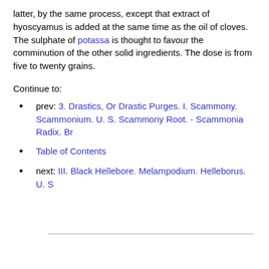latter, by the same process, except that extract of hyoscyamus is added at the same time as the oil of cloves. The sulphate of potassa is thought to favour the comminution of the other solid ingredients. The dose is from five to twenty grains.
Continue to:
prev: 3. Drastics, Or Drastic Purges. I. Scammony. Scammonium. U. S. Scammony Root. - Scammonia Radix. Br
Table of Contents
next: III. Black Hellebore. Melampodium. Helleborus. U. S